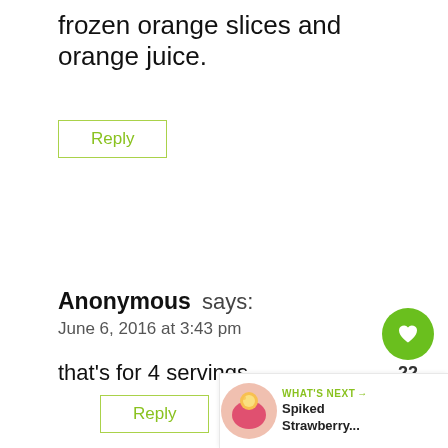frozen orange slices and orange juice.
Reply
Anonymous says:
June 6, 2016 at 3:43 pm
that's for 4 servings.
Reply
[Figure (infographic): Heart/like button (green circle with white heart icon), count 22, and share button]
[Figure (infographic): What's Next widget showing Spiked Strawberry... with a cocktail image]